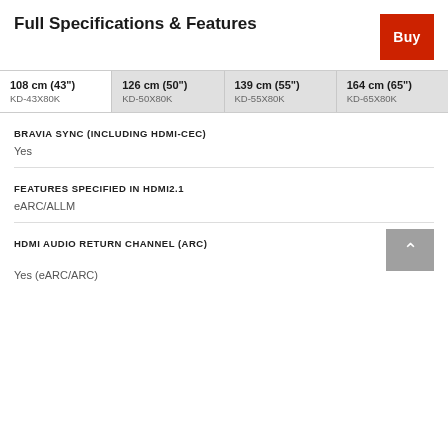Full Specifications & Features
| 108 cm (43")
KD-43X80K | 126 cm (50")
KD-50X80K | 139 cm (55")
KD-55X80K | 164 cm (65")
KD-65X80K |
| --- | --- | --- | --- |
BRAVIA SYNC (INCLUDING HDMI-CEC)
Yes
FEATURES SPECIFIED IN HDMI2.1
eARC/ALLM
HDMI AUDIO RETURN CHANNEL (ARC)
Yes (eARC/ARC)